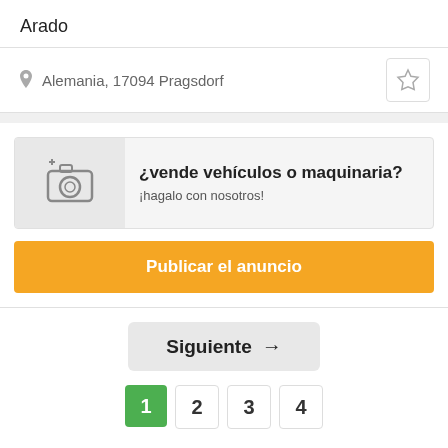Arado
Alemania, 17094 Pragsdorf
[Figure (infographic): Advertisement banner with a camera/add-photo icon on the left and text on the right reading '¿vende vehículos o maquinaria? ¡hagalo con nosotros!']
Publicar el anuncio
Siguiente →
1
2
3
4